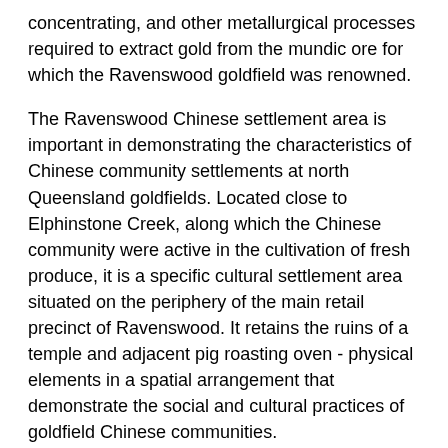concentrating, and other metallurgical processes required to extract gold from the mundic ore for which the Ravenswood goldfield was renowned.
The Ravenswood Chinese settlement area is important in demonstrating the characteristics of Chinese community settlements at north Queensland goldfields. Located close to Elphinstone Creek, along which the Chinese community were active in the cultivation of fresh produce, it is a specific cultural settlement area situated on the periphery of the main retail precinct of Ravenswood. It retains the ruins of a temple and adjacent pig roasting oven - physical elements in a spatial arrangement that demonstrate the social and cultural practices of goldfield Chinese communities.
The place is important because of its aesthetic significance.